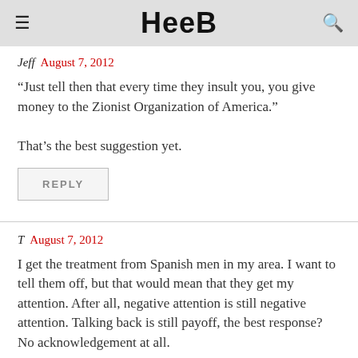Heeb
Jeff August 7, 2012
“Just tell then that every time they insult you, you give money to the Zionist Organization of America.”

That’s the best suggestion yet.
REPLY
T August 7, 2012
I get the treatment from Spanish men in my area. I want to tell them off, but that would mean that they get my attention. After all, negative attention is still negative attention. Talking back is still payoff, the best response? No acknowledgement at all.